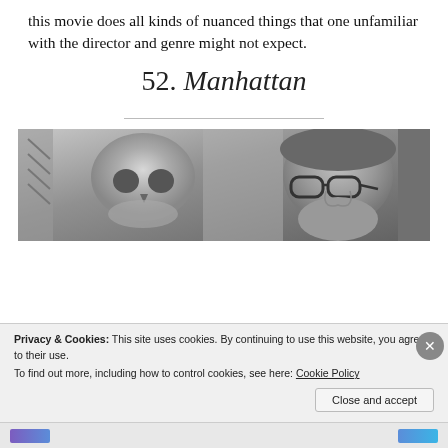this movie does all kinds of nuanced things that one unfamiliar with the director and genre might not expect.
52. Manhattan
[Figure (photo): Black and white photo showing a skull on the left and a man wearing glasses on the right, viewed in profile.]
Privacy & Cookies: This site uses cookies. By continuing to use this website, you agree to their use.
To find out more, including how to control cookies, see here: Cookie Policy
Close and accept